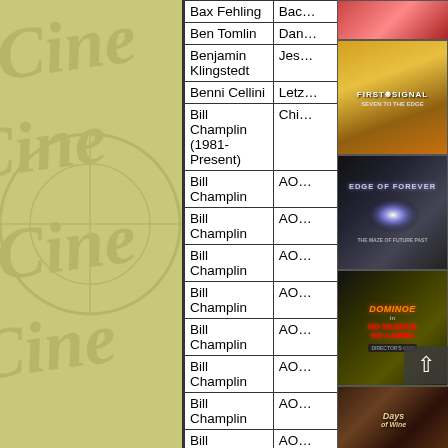[Figure (other): Olive/yellow-green background with faded watermark text (circular logo or text overlay)]
| Name | Album/Info (truncated) |
| --- | --- |
| Bax Fehling | Bac… |
| Ben Tomlin | Dan… |
| Benjamin Klingstedt | Jes… |
| Benni Cellini | Letz… |
| Bill Champlin (1981-Present) | Chi… |
| Bill Champlin | AOL… |
| Bill Champlin | AOL… |
| Bill Champlin | AOL… |
| Bill Champlin | AOL… |
| Bill Champlin | AOL… |
| Bill Champlin | AOL… |
| Bill Champlin | AOL… |
| Bill Champlin | AOL… |
| Bill Champlin | Airp… |
| Bill Champlin | Bill… |
[Figure (photo): Album cover top (partially visible, red/orange tones)]
[Figure (photo): Album cover: First Signal - Seven to the Edge (golden fantasy art)]
[Figure (photo): Album cover: Edge of Forever (dark sci-fi/rock, bright light burst)]
[Figure (photo): Album cover: Dominoe - No Silence No Lambs (dark with orange text)]
[Figure (photo): Album cover: Days of Wine (dark earthy tones, vintage)]